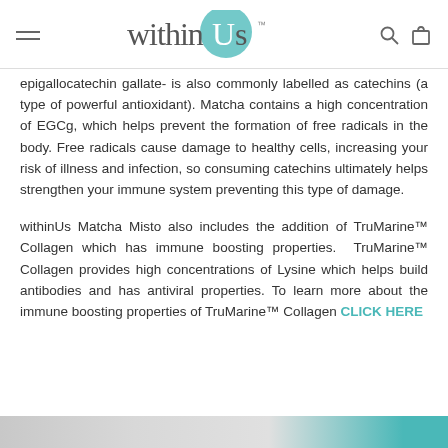withinUs
epigallocatechin gallate- is also commonly labelled as catechins (a type of powerful antioxidant). Matcha contains a high concentration of EGCg, which helps prevent the formation of free radicals in the body. Free radicals cause damage to healthy cells, increasing your risk of illness and infection, so consuming catechins ultimately helps strengthen your immune system preventing this type of damage.
withinUs Matcha Misto also includes the addition of TruMarine™ Collagen which has immune boosting properties.  TruMarine™ Collagen provides high concentrations of Lysine which helps build antibodies and has antiviral properties. To learn more about the immune boosting properties of TruMarine™ Collagen CLICK HERE